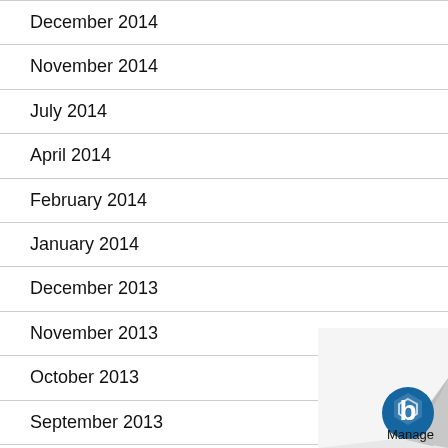December 2014
November 2014
July 2014
April 2014
February 2014
January 2014
December 2013
November 2013
October 2013
September 2013
August 2013
[Figure (logo): Page curl with Manage Engine logo in bottom right corner]